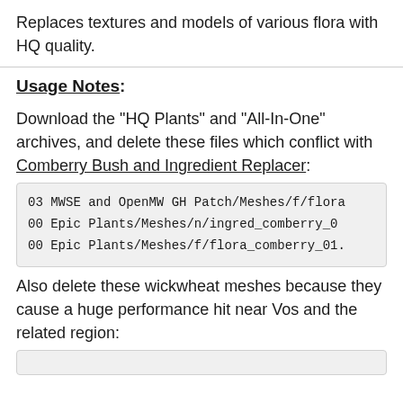Replaces textures and models of various flora with HQ quality.
Usage Notes:
Download the "HQ Plants" and "All-In-One" archives, and delete these files which conflict with Comberry Bush and Ingredient Replacer:
03 MWSE and OpenMW GH Patch/Meshes/f/flora
00 Epic Plants/Meshes/n/ingred_comberry_0
00 Epic Plants/Meshes/f/flora_comberry_01.
Also delete these wickwheat meshes because they cause a huge performance hit near Vos and the related region: